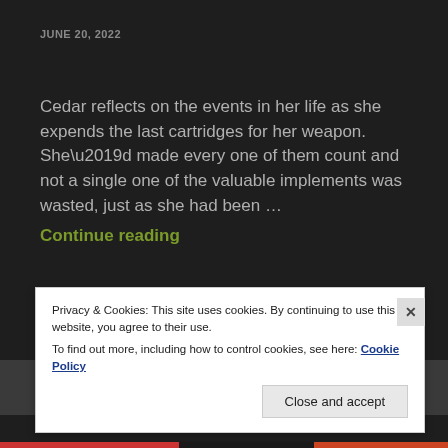JUNE 20, 2022
Cedar reflects on the events in her life as she expends the last cartridges for her weapon. She’d made every one of them count and not a single one of the valuable implements was wasted, just as she had been …
Continue reading
NASH MUST LEARN
LEAVE A COMMENT
Privacy & Cookies: This site uses cookies. By continuing to use this website, you agree to their use.
To find out more, including how to control cookies, see here: Cookie Policy
Close and accept